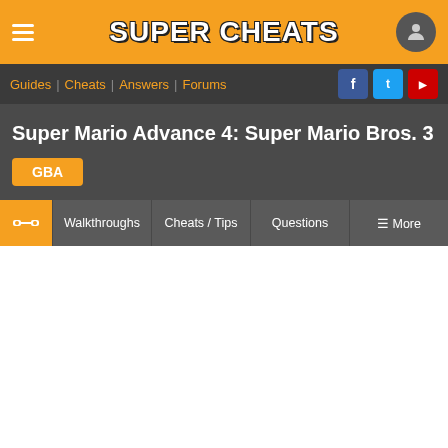Super Cheats
Guides | Cheats | Answers | Forums
Super Mario Advance 4: Super Mario Bros. 3
GBA
Walkthroughs | Cheats / Tips | Questions | More